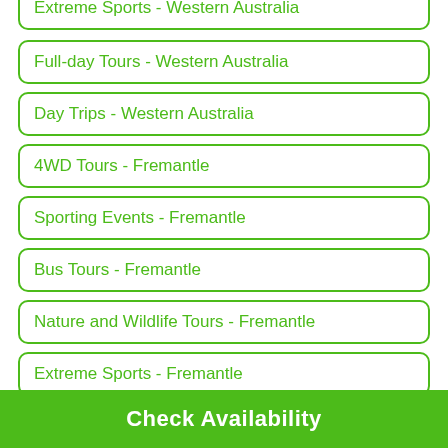Extreme Sports - Western Australia
Full-day Tours - Western Australia
Day Trips - Western Australia
4WD Tours - Fremantle
Sporting Events - Fremantle
Bus Tours - Fremantle
Nature and Wildlife Tours - Fremantle
Extreme Sports - Fremantle
Check Availability